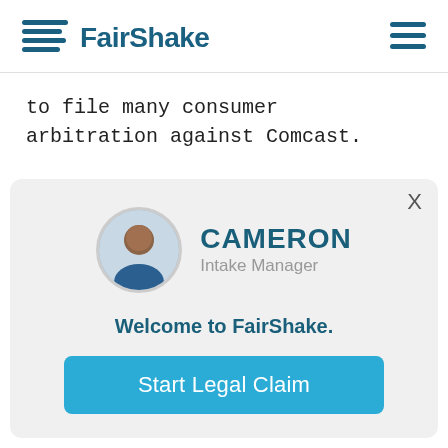[Figure (logo): FairShake logo with wave icon and hamburger menu]
to file many consumer arbitration against Comcast.
[Figure (photo): Cameron, Intake Manager avatar with circular photo and name/title]
Welcome to FairShake.
Start Legal Claim